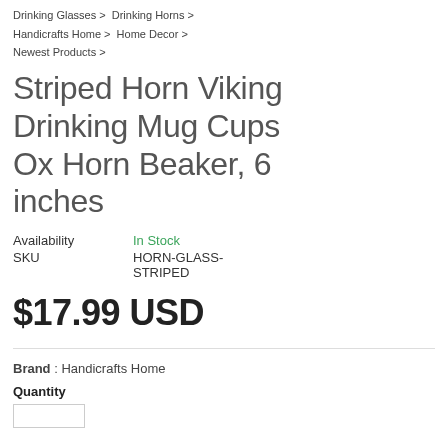Drinking Glasses > Drinking Horns > Handicrafts Home > Home Decor > Newest Products >
Striped Horn Viking Drinking Mug Cups Ox Horn Beaker, 6 inches
| Availability | In Stock |
| SKU | HORN-GLASS-STRIPED |
$17.99 USD
Brand : Handicrafts Home
Quantity